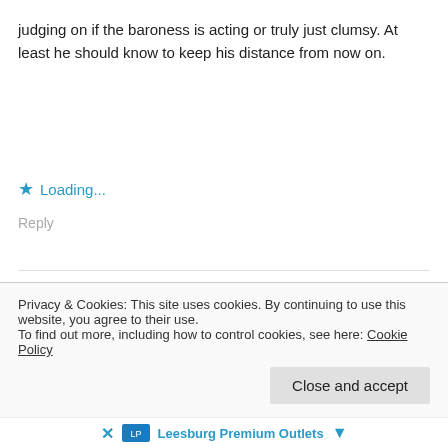judging on if the baroness is acting or truly just clumsy. At least he should know to keep his distance from now on.
★ Loading...
Reply
Gabe
March 1, 2020 at 8:50 pm
Learning that Tiarize was wearing a dress with the color of the prince while all this shitty stuff is happening infuriates me.
Privacy & Cookies: This site uses cookies. By continuing to use this website, you agree to their use.
To find out more, including how to control cookies, see here: Cookie Policy
Close and accept